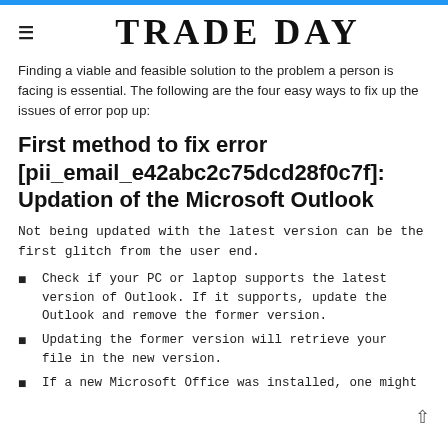TRADE DAY
Finding a viable and feasible solution to the problem a person is facing is essential. The following are the four easy ways to fix up the issues of error pop up:
First method to fix error [pii_email_e42abc2c75dcd28f0c7f]: Updation of the Microsoft Outlook
Not being updated with the latest version can be the first glitch from the user end.
Check if your PC or laptop supports the latest version of Outlook. If it supports, update the Outlook and remove the former version.
Updating the former version will retrieve your files in the new version.
If a new Microsoft Office was installed, one might